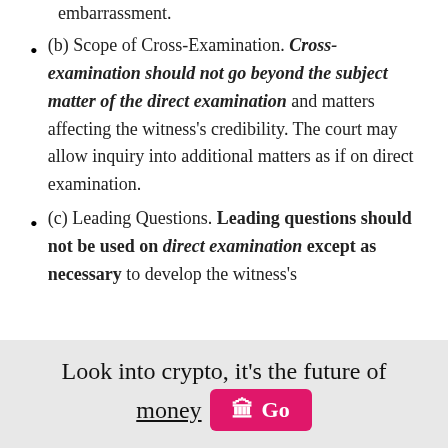embarrassment.
(b) Scope of Cross-Examination. Cross-examination should not go beyond the subject matter of the direct examination and matters affecting the witness's credibility. The court may allow inquiry into additional matters as if on direct examination.
(c) Leading Questions. Leading questions should not be used on direct examination except as necessary to develop the witness's
Look into crypto, it's the future of money  Go